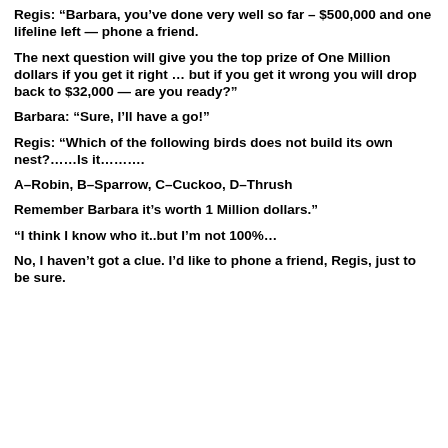Regis: “Barbara, you’ve done very well so far – $500,000 and one lifeline left — phone a friend.
The next question will give you the top prize of One Million dollars if you get it right … but if you get it wrong you will drop back to $32,000 — are you ready?”
Barbara: “Sure, I’ll have a go!”
Regis: “Which of the following birds does not build its own nest?……Is it……….
A–Robin, B–Sparrow, C–Cuckoo, D–Thrush
Remember Barbara it’s worth 1 Million dollars.”
“I think I know who it..but I’m not 100%…
No, I haven’t got a clue. I’d like to phone a friend, Regis, just to be sure.